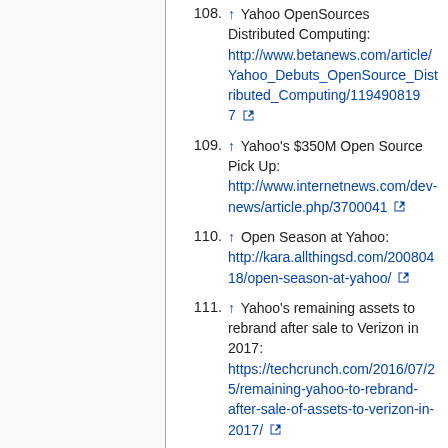108. ↑ Yahoo OpenSources Distributed Computing: http://www.betanews.com/article/Yahoo_Debuts_OpenSource_Distributed_Computing/1194908197
109. ↑ Yahoo's $350M Open Source Pick Up: http://www.internetnews.com/dev-news/article.php/3700041
110. ↑ Open Season at Yahoo: http://kara.allthingsd.com/20080418/open-season-at-yahoo/
111. ↑ Yahoo's remaining assets to rebrand after sale to Verizon in 2017: https://techcrunch.com/2016/07/25/remaining-yahoo-to-rebrand-after-sale-of-assets-to-verizon-in-2017/